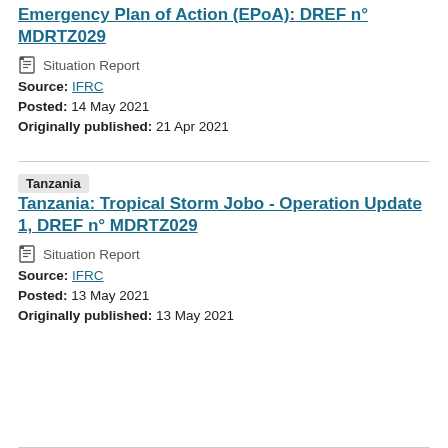Emergency Plan of Action (EPoA): DREF n° MDRTZ029
Situation Report
Source: IFRC
Posted: 14 May 2021
Originally published: 21 Apr 2021
Tanzania: Tropical Storm Jobo - Operation Update 1, DREF n° MDRTZ029
Situation Report
Source: IFRC
Posted: 13 May 2021
Originally published: 13 May 2021